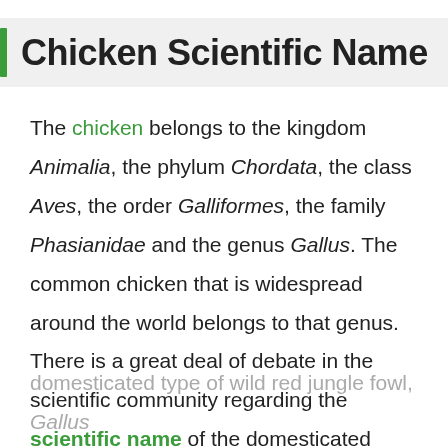Chicken Scientific Name
The chicken belongs to the kingdom Animalia, the phylum Chordata, the class Aves, the order Galliformes, the family Phasianidae and the genus Gallus. The common chicken that is widespread around the world belongs to that genus. There is a great deal of debate in the scientific community regarding the scientific name of the domesticated chicken, however. Some consider the chicken to be a
domesticated type of wild red jungle fowl, Gallus